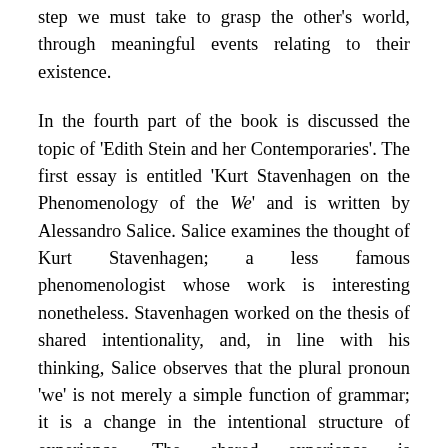step we must take to grasp the other's world, through meaningful events relating to their existence.
In the fourth part of the book is discussed the topic of 'Edith Stein and her Contemporaries'. The first essay is entitled 'Kurt Stavenhagen on the Phenomenology of the We' and is written by Alessandro Salice. Salice examines the thought of Kurt Stavenhagen; a less famous phenomenologist whose work is interesting nonetheless. Stavenhagen worked on the thesis of shared intentionality, and, in line with his thinking, Salice observes that the plural pronoun 'we' is not merely a simple function of grammar; it is a change in the intentional structure of experience. The shared experience is characterized by the phenomenologist as a reference to the selfsame intentional object, like a general 'we like G'. This abstract sentence is